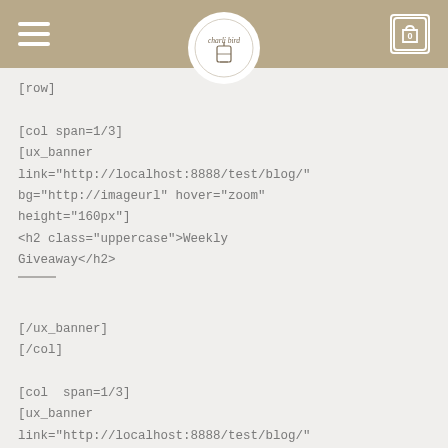charli bird — website header with hamburger menu and cart icon
[row]

[col span=1/3]
[ux_banner link="http://localhost:8888/test/blog/" bg="http://imageurl" hover="zoom" height="160px"]
<h2 class="uppercase">Weekly Giveaway</h2>

[/ux_banner]
[/col]

[col  span=1/3]
[ux_banner link="http://localhost:8888/test/blog/" bg="http://imageurl" hover="zoom" height="160px"]
<h2 class="uppercase">Join our competition</h2>